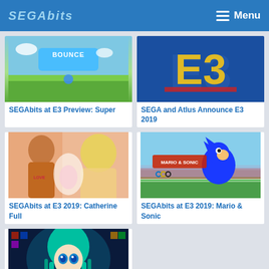SEGAbits — Menu
[Figure (screenshot): Thumbnail for SEGAbits at E3 Preview: Super — game with bounce text on green background]
SEGAbits at E3 Preview: Super
[Figure (screenshot): Thumbnail for SEGA and Atlus Announce E3 2019 — E3 logo on blue background]
SEGA and Atlus Announce E3 2019
[Figure (screenshot): Thumbnail for SEGAbits at E3 2019: Catherine Full — anime characters]
SEGAbits at E3 2019: Catherine Full
[Figure (screenshot): Thumbnail for SEGAbits at E3 2019: Mario & Sonic — Sonic the Hedgehog at Olympic stadium]
SEGAbits at E3 2019: Mario & Sonic
[Figure (screenshot): Thumbnail showing Hatsune Miku with E3 2014 logo]